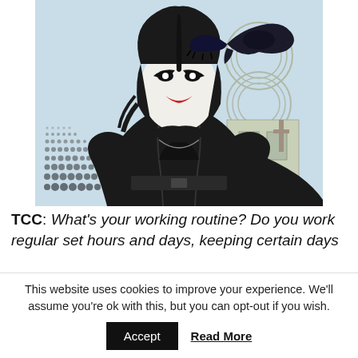[Figure (illustration): A detailed illustration of a figure resembling The Crow character — a person with black and white face paint, dark wavy hair, wearing a black leather jacket, with a crow/raven with spread wings in the upper right, and architectural elements (circular designs, church-like structures) in the background.]
TCC: What's your working routine? Do you work regular set hours and days, keeping certain days
This website uses cookies to improve your experience. We'll assume you're ok with this, but you can opt-out if you wish.